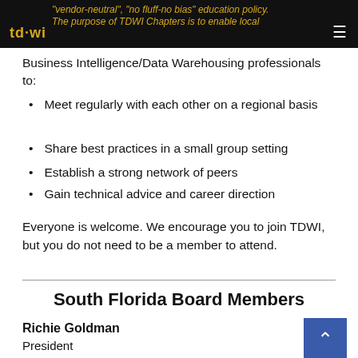vendor-neutral, no fluff-no bias education policy. The purpose of TDWI Chapters is to enable local
Business Intelligence/Data Warehousing professionals to:
Meet regularly with each other on a regional basis
Share best practices in a small group setting
Establish a strong network of peers
Gain technical advice and career direction
Everyone is welcome. We encourage you to join TDWI, but you do not need to be a member to attend.
South Florida Board Members
Richie Goldman
President